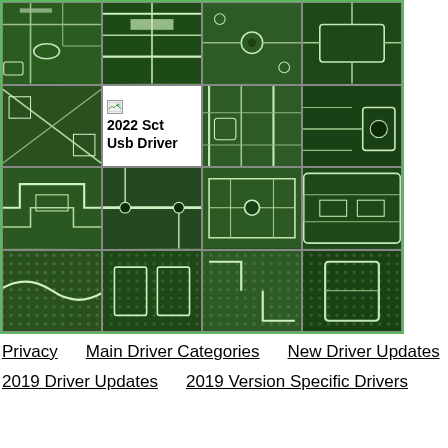[Figure (photo): 4x4 grid collage of green printed circuit board (PCB) close-up photographs. One cell (row 2, column 2) shows a broken image placeholder with text '2022 Sct Usb Driver'.]
Privacy    Main Driver Categories    New Driver Updates
2019 Driver Updates    2019 Version Specific Drivers